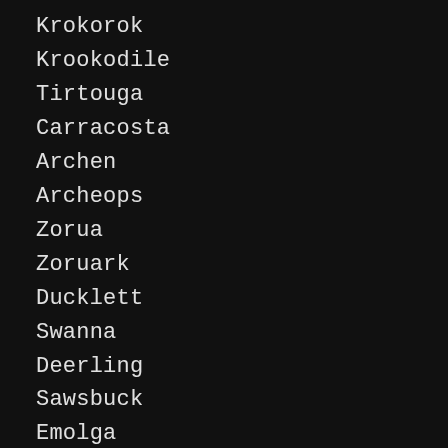Krokorok
Krookodile
Tirtouga
Carracosta
Archen
Archeops
Zorua
Zoruark
Ducklett
Swanna
Deerling
Sawsbuck
Emolga
Foongus
Amoonguss